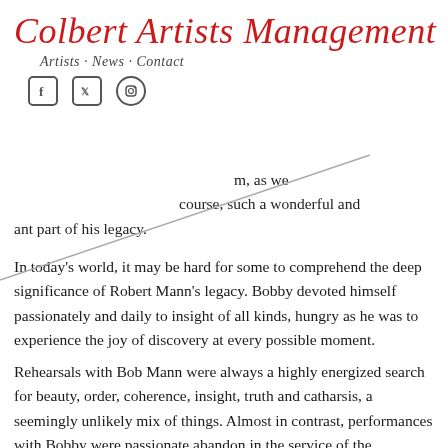Colbert Artists Management
Artists · News · Contact
him, as we course, such a wonderful and ant part of his legacy.
In today's world, it may be hard for some to comprehend the deep significance of Robert Mann's legacy. Bobby devoted himself passionately and daily to insight of all kinds, hungry as he was to experience the joy of discovery at every possible moment.
Rehearsals with Bob Mann were always a highly energized search for beauty, order, coherence, insight, truth and catharsis, a seemingly unlikely mix of things. Almost in contrast, performances with Bobby were passionate abandon in the service of the composers' imaginations, while holding the ship steady towards its